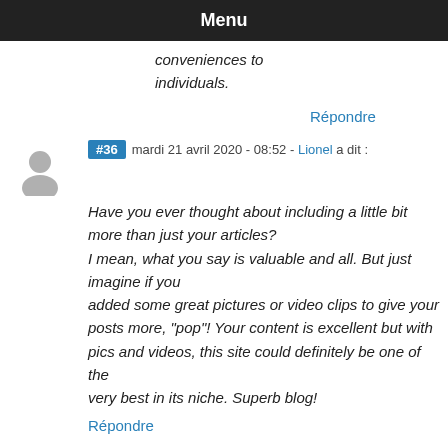Menu
conveniences to individuals.
Répondre
#36  mardi 21 avril 2020 - 08:52 - Lionel a dit :
Have you ever thought about including a little bit more than just your articles? I mean, what you say is valuable and all. But just imagine if you added some great pictures or video clips to give your posts more, "pop"! Your content is excellent but with pics and videos, this site could definitely be one of the very best in its niche. Superb blog!
Répondre
#37  mardi 21 avril 2020 - 08:57 - visit the next website a dit :